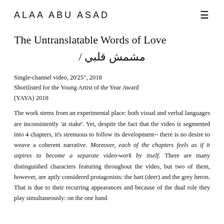ALAA ABU ASAD  ☰
The Untranslatable Words of Love / مشمش قلبي
Single-channel video, 20'25", 2018
Shortlisted for the Young Artist of the Year Award (YAYA) 2018
The work stems from an experimental place: both visual and verbal languages are inconsistently 'at stake'. Yet, despite the fact that the video is segmented into 4 chapters, it's strenuous to follow its development-- there is no desire to weave a coherent narrative. Moreover, each of the chapters feels as if it aspires to become a separate video-work by itself. There are many distinguished characters featuring throughout the video, but two of them, however, are aptly considered protagonists: the hart (deer) and the grey heron. That is due to their recurring appearances and because of the dual role they play simultaneously: on the one hand